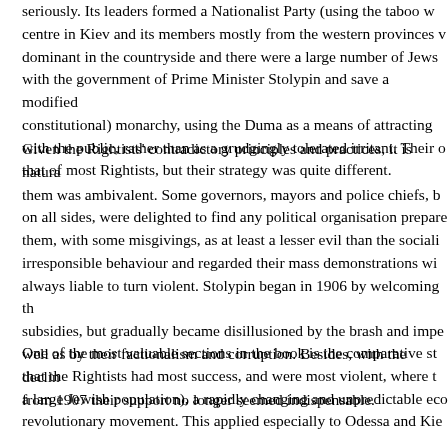seriously. Its leaders formed a Nationalist Party (using the taboo w... centre in Kiev and its members mostly from the western provinces v... dominant in the countryside and there were a large number of Jews... with the government of Prime Minister Stolypin and save a modified... constitutional) monarchy, using the Duma as a means of attracting... with the public, rather than as a grudgingly tolerated irritant. Their o... that of most Rightists, but their strategy was quite different.
Given the Rightists' contradictory principles and practices, it is natur... them was ambivalent. Some governors, mayors and police chiefs, b... on all sides, were delighted to find any political organisation prepare... them, with some misgivings, as at least a lesser evil than the soiali... irresponsible behaviour and regarded their mass demonstrations wi... always liable to turn violent. Stolypin began in 1906 by welcoming th... subsidies, but gradually became disillusioned by the brash and impe... well as by their factionalism and corruption. Besides, with the declin... from 1907 their support no longer seemed indispensable.
One of the most valuable sections in the book is the comparative st... that the Rightists had most success, and were most violent, where t... a large Jewish population), a rapidly changing and unpredictable eco... revolutionary movement. This applied especially to Odessa and Kie...